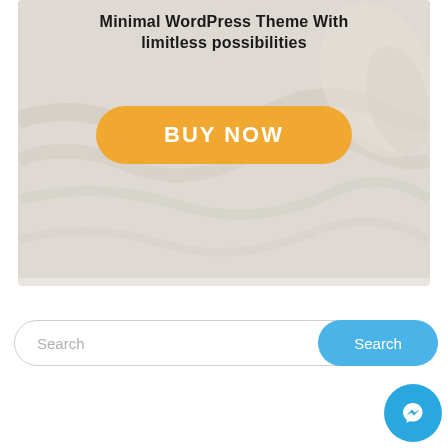[Figure (screenshot): Hero banner for a minimal WordPress theme with a light gray textured background, bold title text 'Minimal WordPress Theme With limitless possibilities', and a gold/amber rounded 'BUY NOW' button]
Search
[Figure (illustration): Teal/blue rounded search button with label 'Search' and a Facebook Messenger floating action button (blue circle with lightning bolt icon)]